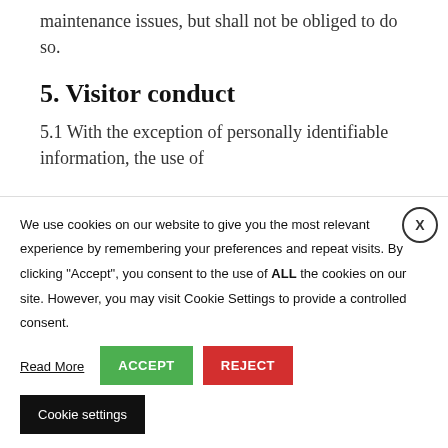maintenance issues, but shall not be obliged to do so.
5. Visitor conduct
5.1 With the exception of personally identifiable information, the use of
We use cookies on our website to give you the most relevant experience by remembering your preferences and repeat visits. By clicking "Accept", you consent to the use of ALL the cookies on our site. However, you may visit Cookie Settings to provide a controlled consent. Read More
ACCEPT
REJECT
Cookie settings